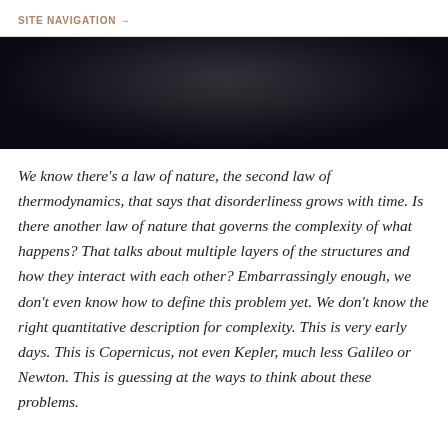SITE NAVIGATION →
[Figure (photo): Dark photograph of a person in a dark background, mostly silhouette with faint figure visible]
We know there's a law of nature, the second law of thermodynamics, that says that disorderliness grows with time. Is there another law of nature that governs the complexity of what happens? That talks about multiple layers of the structures and how they interact with each other? Embarrassingly enough, we don't even know how to define this problem yet. We don't know the right quantitative description for complexity. This is very early days. This is Copernicus, not even Kepler, much less Galileo or Newton. This is guessing at the ways to think about these problems.